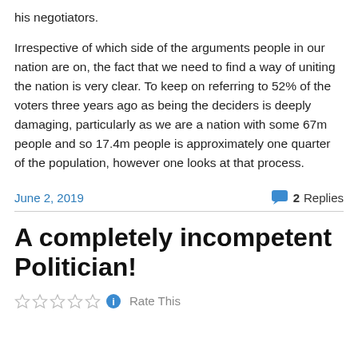his negotiators.
Irrespective of which side of the arguments people in our nation are on, the fact that we need to find a way of uniting the nation is very clear. To keep on referring to 52% of the voters three years ago as being the deciders is deeply damaging, particularly as we are a nation with some 67m people and so 17.4m people is approximately one quarter of the population, however one looks at that process.
June 2, 2019
2 Replies
A completely incompetent Politician!
Rate This